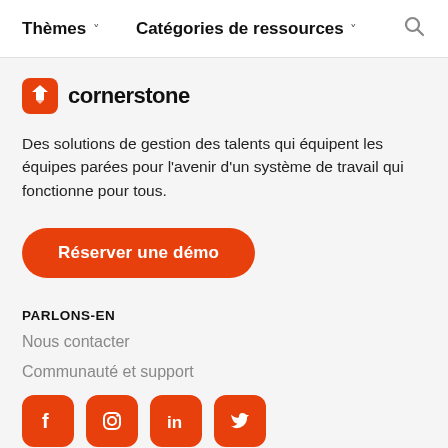Thèmes ˅   Catégories de ressources ˅   🔍
[Figure (logo): Cornerstone logo with orange diamond/star icon and text 'cornerstone']
Des solutions de gestion des talents qui équipent les équipes parées pour l'avenir d'un système de travail qui fonctionne pour tous.
Réserver une démo
PARLONS-EN
Nous contacter
Communauté et support
[Figure (infographic): Four orange rounded-square social media icons: Facebook, Instagram, LinkedIn, Twitter]
SOLUTIONS